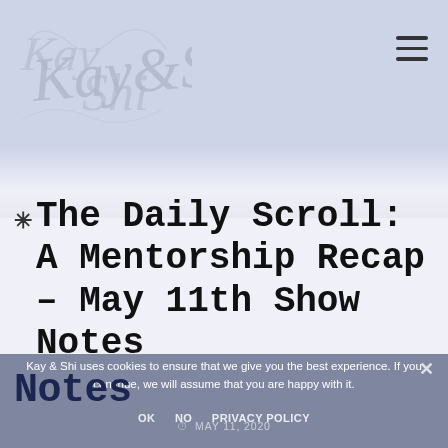[Figure (logo): Kay & Shi cursive script logo in light gray on lavender background]
The Daily Scroll: A Mentorship Recap – May 11th Show Notes
Kay & Shi uses cookies to ensure that we give you the best experience. If you continue, we will assume that you are happy with it.
MAY 11, 2020
OK  NO  PRIVACY POLICY